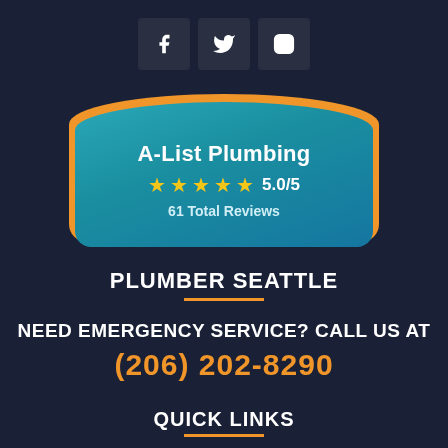[Figure (logo): Three social media icons: Facebook (f), Twitter (bird), Instagram (camera) on dark square backgrounds]
[Figure (infographic): Teal and orange shield/badge shape with text 'A-List Plumbing', 5 gold stars, rating 5.0/5, and 61 Total Reviews]
PLUMBER SEATTLE
NEED EMERGENCY SERVICE? CALL US AT
(206) 202-8290
QUICK LINKS